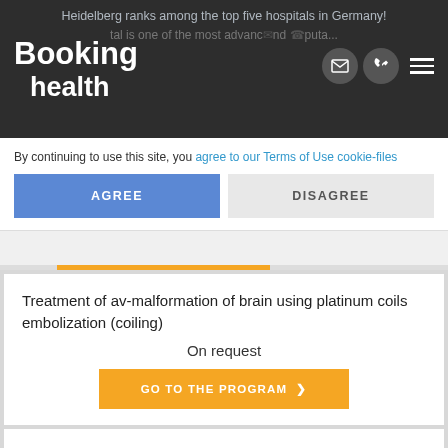Heidelberg ranks among the top five hospitals in Germany! Booking Health — tal is one of the most advanced and reputa...
By continuing to use this site, you agree to our Terms of Use cookie-files
AGREE
DISAGREE
Treatment of av-malformation of brain using platinum coils embolization (coiling)
On request
GO TO THE PROGRAM
Treatment of brain av-malformation with partial resection and coiling
On request
GO TO THE PROGRAM